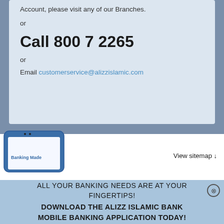Account, please visit any of our Branches.
or
Call 800 7 2265
or
Email customerservice@alizzislamic.com
[Figure (illustration): Smartphone illustration with text 'Banking Made']
View sitemap ↓
ALL YOUR BANKING NEEDS ARE AT YOUR FINGERTIPS! DOWNLOAD THE ALIZZ ISLAMIC BANK MOBILE BANKING APPLICATION TODAY!